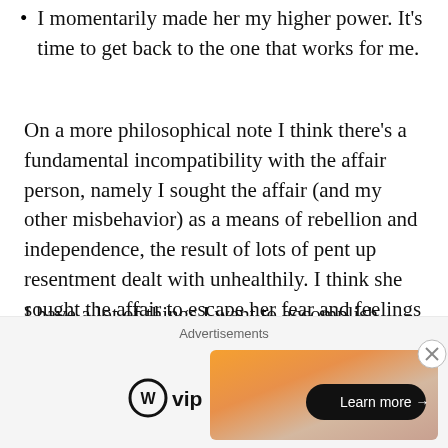I momentarily made her my higher power. It's time to get back to the one that works for me.
On a more philosophical note I think there's a fundamental incompatibility with the affair person, namely I sought the affair (and my other misbehavior) as a means of rebellion and independence, the result of lots of pent up resentment dealt with unhealthily. I think she sought the affair to escape her fear and feelings and be attached to someone else.
I have a lot of things I want to accomplish. Some of it is lofty (make my first $1 million by 40, or were it $40 million…) but some of it is about living more intentionally…
[Figure (screenshot): WordPress VIP advertisement banner with orange/peach gradient and Learn more button]